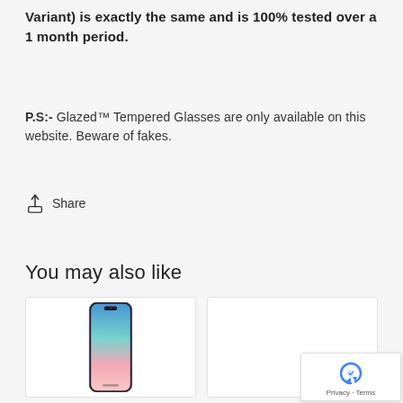Variant) is exactly the same and is 100% tested over a 1 month period.
P.S:- Glazed™ Tempered Glasses are only available on this website. Beware of fakes.
Share
You may also like
[Figure (photo): Samsung Galaxy S10 smartphone with gradient blue-pink display]
[Figure (photo): Empty product card placeholder]